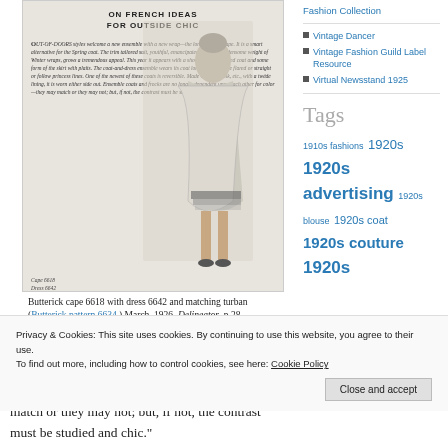[Figure (illustration): Vintage fashion illustration showing a woman in a 1920s ensemble with cape and dress, with text overlay describing Spring fashion styles. Caption area shows 'Cape 6618, Dress 6642, Turban 6634'. Header text reads 'ON FRENCH IDEAS FOR OUTSIDE CHIC'.]
Butterick cape 6618 with dress 6642 and matching turban (Butterick pattern 6634.) March, 1926. Delineator, p.28.
“Ensemble coats and frocks are no longer dependent upon each other for color — they may match or they may not; but, if not, the contrast must be studied and chic.”
Fashion Collection
Vintage Dancer
Vintage Fashion Guild Label Resource
Virtual Newsstand 1925
Tags
1910s fashions 1920s 1920s advertising 1920s blouse 1920s coat 1920s couture 1920s
Privacy & Cookies: This site uses cookies. By continuing to use this website, you agree to their use.
To find out more, including how to control cookies, see here: Cookie Policy
Close and accept